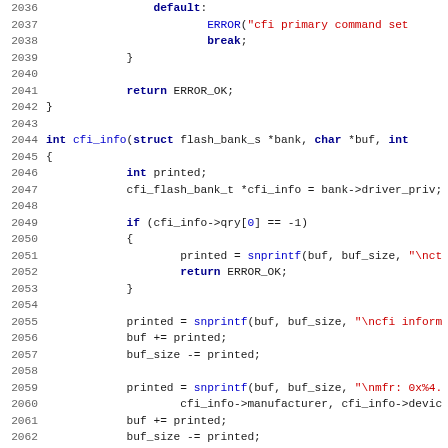[Figure (screenshot): Source code listing in C showing lines 2036-2067 of a CFI flash driver implementation, with syntax highlighting (blue keywords, red strings, dark blue function names).]